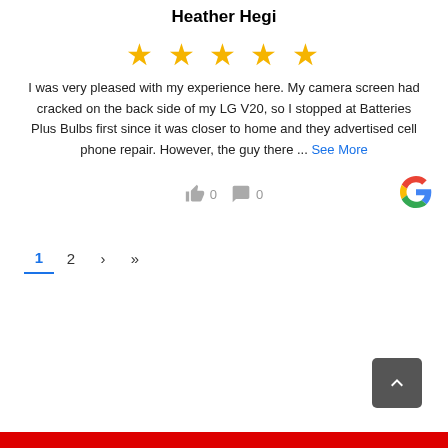Heather Hegi
[Figure (other): 5 yellow star rating icons]
I was very pleased with my experience here. My camera screen had cracked on the back side of my LG V20, so I stopped at Batteries Plus Bulbs first since it was closer to home and they advertised cell phone repair. However, the guy there ... See More
[Figure (other): Like icon with count 0 and comment icon with count 0, and Google G logo on the right]
1 2 › »
[Figure (other): Back to top button (dark grey rounded square with upward chevron)]